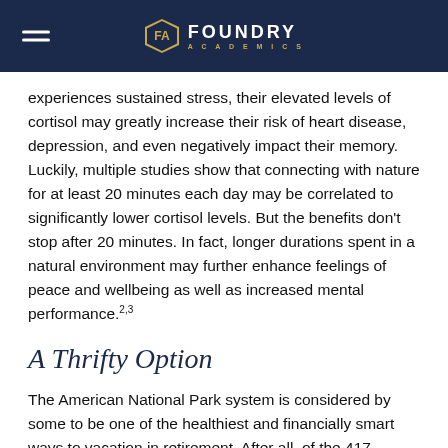Foundry Academics
experiences sustained stress, their elevated levels of cortisol may greatly increase their risk of heart disease, depression, and even negatively impact their memory. Luckily, multiple studies show that connecting with nature for at least 20 minutes each day may be correlated to significantly lower cortisol levels. But the benefits don't stop after 20 minutes. In fact, longer durations spent in a natural environment may further enhance feelings of peace and wellbeing as well as increased mental performance.2,3
A Thrifty Option
The American National Park system is considered by some to be one of the healthiest and financially smart ways to vacation in retirement. After all, of the 417 current National Park Sites, roughly 300 allow free admission. For those who need to contact the National Park Service (NPS)